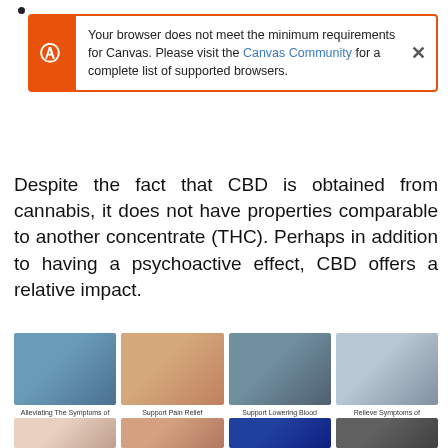Your browser does not meet the minimum requirements for Canvas. Please visit the Canvas Community for a complete list of supported browsers.
Despite the fact that CBD is obtained from cannabis, it does not have properties comparable to another concentrate (THC). Perhaps in addition to having a psychoactive effect, CBD offers a relative impact.
[Figure (photo): Grid of four photos: person with depression/anxiety, person with back pain, anatomical heart model, person yawning (insomnia)]
Alleviating The Symptoms of Depression and Anxiety
Support Pain Relief
Support Lowering Blood Pressure
Relieve Symptoms of Insomnia
[Figure (photo): Grid of four partial photos: close-up of eye, human brain anatomical image, neurological brain scan (blue/red), person smoking]